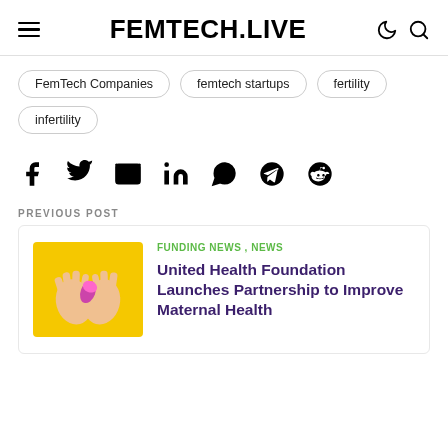FEMTECH.LIVE
FemTech Companies
femtech startups
fertility
infertility
[Figure (infographic): Social share icons: Facebook, Twitter, Email, LinkedIn, WhatsApp, Telegram, Reddit]
PREVIOUS POST
[Figure (photo): Hands holding a small pink capsule against yellow background]
FUNDING NEWS , NEWS
United Health Foundation Launches Partnership to Improve Maternal Health